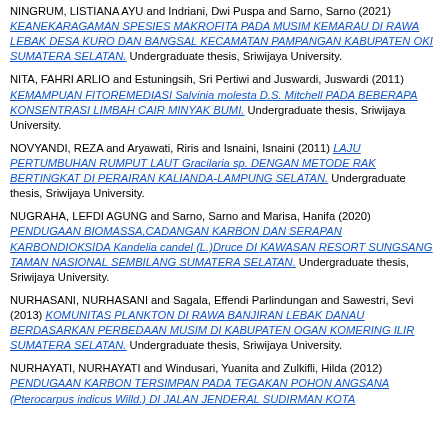NINGRUM, LISTIANA AYU and Indriani, Dwi Puspa and Sarno, Sarno (2021) KEANEKARAGAMAN SPESIES MAKROFITA PADA MUSIM KEMARAU DI RAWA LEBAK DESA KURO DAN BANGSAL KECAMATAN PAMPANGAN KABUPATEN OKI SUMATERA SELATAN. Undergraduate thesis, Sriwijaya University.
NITA, FAHRI ARLIO and Estuningsih, Sri Pertiwi and Juswardi, Juswardi (2011) KEMAMPUAN FITOREMEDIASI Salvinia molesta D.S. Mitchell PADA BEBERAPA KONSENTRASI LIMBAH CAIR MINYAK BUMI. Undergraduate thesis, Sriwijaya University.
NOVYANDI, REZA and Aryawati, Riris and Isnaini, Isnaini (2011) LAJU PERTUMBUHAN RUMPUT LAUT Gracilaria sp. DENGAN METODE RAK BERTINGKAT DI PERAIRAN KALIANDA-LAMPUNG SELATAN. Undergraduate thesis, Sriwijaya University.
NUGRAHA, LEFDI AGUNG and Sarno, Sarno and Marisa, Hanifa (2020) PENDUGAAN BIOMASSA,CADANGAN KARBON DAN SERAPAN KARBONDIOKSIDA Kandelia candel (L.)Druce DI KAWASAN RESORT SUNGSANG TAMAN NASIONAL SEMBILANG SUMATERA SELATAN. Undergraduate thesis, Sriwijaya University.
NURHASANI, NURHASANI and Sagala, Effendi Parlindungan and Sawestri, Sevi (2013) KOMUNITAS PLANKTON DI RAWA BANJIRAN LEBAK DANAU BERDASARKAN PERBEDAAN MUSIM DI KABUPATEN OGAN KOMERING ILIR SUMATERA SELATAN. Undergraduate thesis, Sriwijaya University.
NURHAYATI, NURHAYATI and Windusari, Yuanita and Zulkifli, Hilda (2012) PENDUGAAN KARBON TERSIMPAN PADA TEGAKAN POHON ANGSANA (Pterocarpus indicus Willd.) DI JALAN JENDERAL SUDIRMAN KOTA